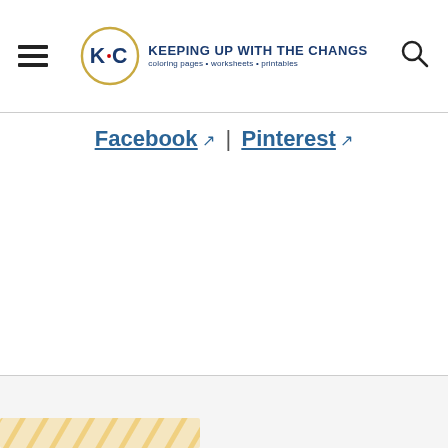Keeping Up With The Changs — coloring pages • worksheets • printables
Facebook | Pinterest